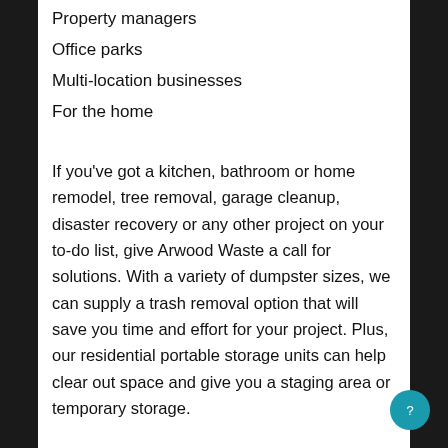Property managers
Office parks
Multi-location businesses
For the home
If you’ve got a kitchen, bathroom or home remodel, tree removal, garage cleanup, disaster recovery or any other project on your to-do list, give Arwood Waste a call for solutions. With a variety of dumpster sizes, we can supply a trash removal option that will save you time and effort for your project. Plus, our residential portable storage units can help clear out space and give you a staging area or temporary storage.
If you’re moving, give our portable storage solution a try. Park one on your property while